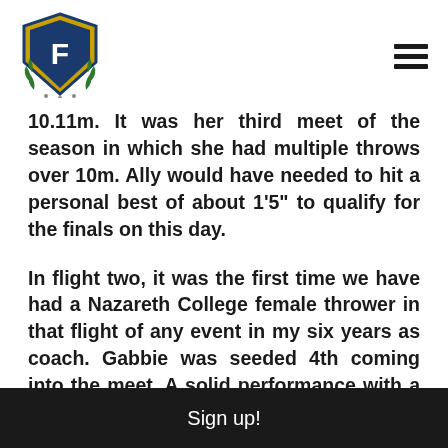Forza Atletica logo and navigation menu
10.11m. It was her third meet of the season in which she had multiple throws over 10m. Ally would have needed to hit a personal best of about 1’5” to qualify for the finals on this day.
In flight two, it was the first time we have had a Nazareth College female thrower in that flight of any event in my six years as coach. Gabbie was seeded 4th coming into the meet. A solid performance with a throw anywhere over 11.25m would have placed 6th. Gabbie had
Sign up!